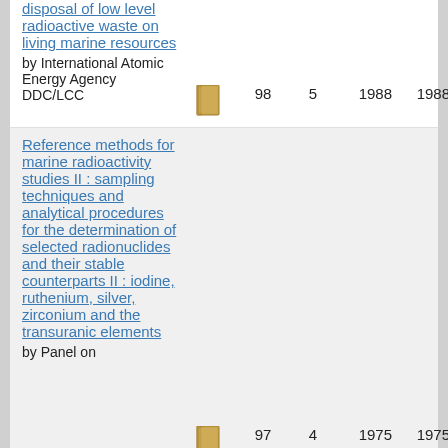disposal of low level radioactive waste on living marine resources
by International Atomic Energy Agency
DDC/LCC
98   5   1988   1988
Reference methods for marine radioactivity studies II : sampling techniques and analytical procedures for the determination of selected radionuclides and their stable counterparts II : iodine, ruthenium, silver, zirconium and the transuranic elements
by Panel on
97   4   1975   1975